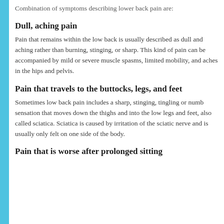Combination of symptoms describing lower back pain are:
Dull, aching pain
Pain that remains within the low back is usually described as dull and aching rather than burning, stinging, or sharp. This kind of pain can be accompanied by mild or severe muscle spasms, limited mobility, and aches in the hips and pelvis.
Pain that travels to the buttocks, legs, and feet
Sometimes low back pain includes a sharp, stinging, tingling or numb sensation that moves down the thighs and into the low legs and feet, also called sciatica. Sciatica is caused by irritation of the sciatic nerve and is usually only felt on one side of the body.
Pain that is worse after prolonged sitting